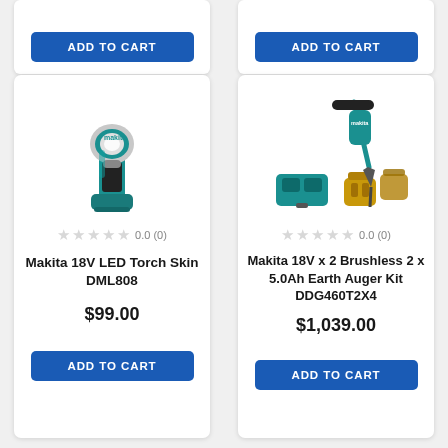ADD TO CART (top left button)
ADD TO CART (top right button)
[Figure (photo): Makita 18V LED Torch Skin DML808 - teal/black cordless work light with pistol grip]
0.0 (0)
Makita 18V LED Torch Skin DML808
$99.00
ADD TO CART
[Figure (photo): Makita 18V x 2 Brushless 2 x 5.0Ah Earth Auger Kit DDG460T2X4 - auger with dual charger and two batteries]
0.0 (0)
Makita 18V x 2 Brushless 2 x 5.0Ah Earth Auger Kit DDG460T2X4
$1,039.00
ADD TO CART